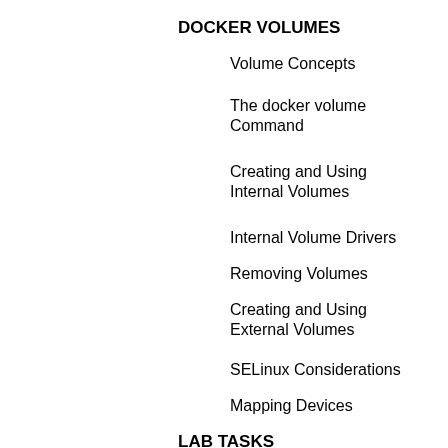DOCKER VOLUMES
Volume Concepts
The docker volume Command
Creating and Using Internal Volumes
Internal Volume Drivers
Removing Volumes
Creating and Using External Volumes
SELinux Considerations
Mapping Devices
LAB TASKS
Docker Internal Volumes
Docker External Volumes